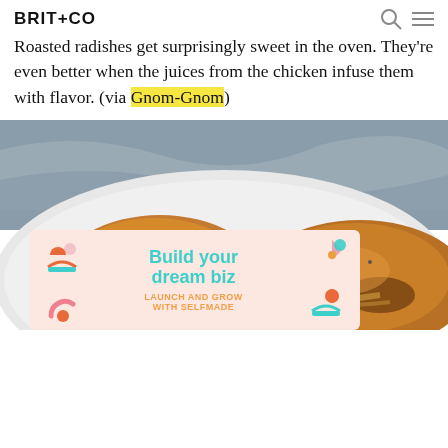BRIT+CO
Roasted radishes get surprisingly sweet in the oven. They're even better when the juices from the chicken infuse them with flavor. (via Gnom-Gnom)
[Figure (photo): Close-up photo of roasted chicken pieces on a white plate with gravy/sauce, with a blue-grey linen cloth in the background. An advertisement overlay is visible at the bottom showing 'Build your dream biz — Launch and Grow with Selfmade' on a peach/salmon background with decorative graphic elements.]